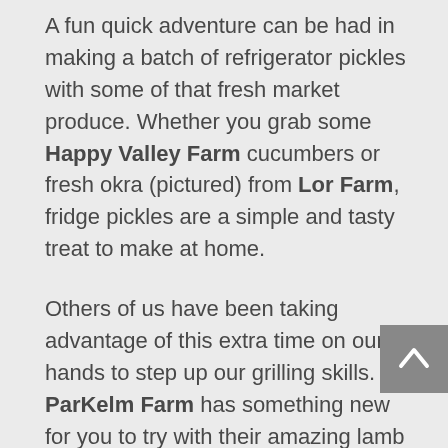A fun quick adventure can be had in making a batch of refrigerator pickles with some of that fresh market produce. Whether you grab some Happy Valley Farm cucumbers or fresh okra (pictured) from Lor Farm, fridge pickles are a simple and tasty treat to make at home.
Others of us have been taking advantage of this extra time on our hands to step up our grilling skills. ParKelm Farm has something new for you to try with their amazing lamb brats, which will taste great with that fresh Alsum Sweet Corn.